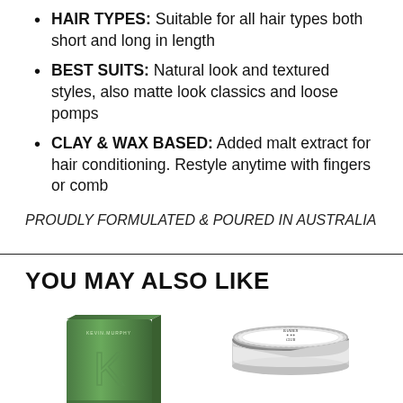HAIR TYPES: Suitable for all hair types both short and long in length
BEST SUITS: Natural look and textured styles, also matte look classics and loose pomps
CLAY & WAX BASED: Added malt extract for hair conditioning. Restyle anytime with fingers or comb
PROUDLY FORMULATED & POURED IN AUSTRALIA
YOU MAY ALSO LIKE
[Figure (photo): Green box-shaped hair product (Kevin Murphy brand) shown partially, green rectangular packaging with a K logo]
[Figure (photo): Round white tin container of hair product with ornate label design, shown partially]